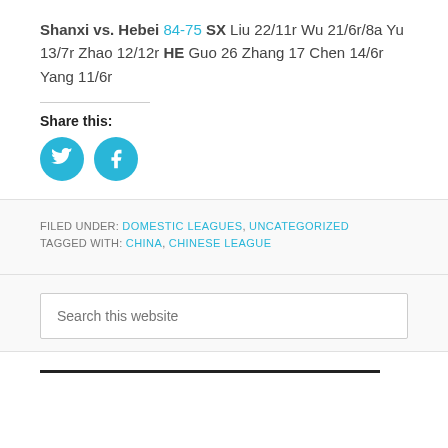Shanxi vs. Hebei 84-75 SX Liu 22/11r Wu 21/6r/8a Yu 13/7r Zhao 12/12r HE Guo 26 Zhang 17 Chen 14/6r Yang 11/6r
Share this:
[Figure (other): Twitter and Facebook share icon buttons (blue circles with white bird and f logos)]
FILED UNDER: DOMESTIC LEAGUES, UNCATEGORIZED
TAGGED WITH: CHINA, CHINESE LEAGUE
Search this website